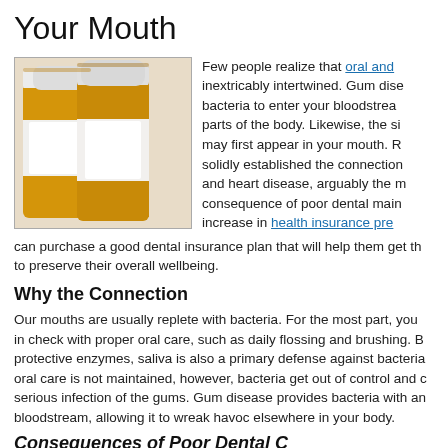Your Mouth
[Figure (photo): Two orange prescription pill bottles with white caps and white labels, seen from close up]
Few people realize that oral and [health] inextricably intertwined. Gum disease allows bacteria to enter your bloodstream and reach other parts of the body. Likewise, the signs of disease may first appear in your mouth. Research has solidly established the connection between oral and heart disease, arguably the most serious consequence of poor dental maintenance, and the increase in health insurance pre[miums]... can purchase a good dental insurance plan that will help them get the care needed to preserve their overall wellbeing.
Why the Connection
Our mouths are usually replete with bacteria. For the most part, you can keep it in check with proper oral care, such as daily flossing and brushing. Besides protective enzymes, saliva is also a primary defense against bacteria. When oral care is not maintained, however, bacteria get out of control and cause a serious infection of the gums. Gum disease provides bacteria with a path to the bloodstream, allowing it to wreak havoc elsewhere in your body.
Consequences of Poor Dental Care